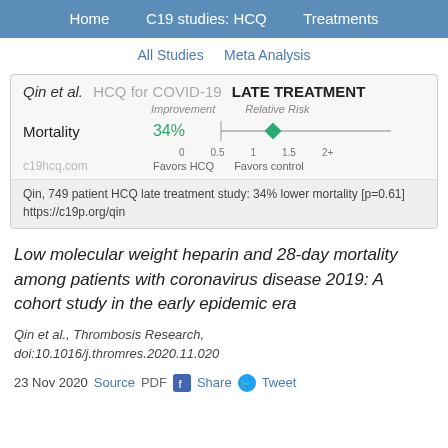Home   C19 studies: HCQ   Treatments
All Studies   Meta Analysis
[Figure (other): Forest plot card for Qin et al. HCQ for COVID-19 LATE TREATMENT. Shows Mortality with 34% improvement and relative risk diamond at ~0.66 on a scale from 0 to 2+. Favors HCQ on left, Favors control on right.]
Qin, 749 patient HCQ late treatment study: 34% lower mortality [p=0.61] https://c19p.org/qin
Low molecular weight heparin and 28-day mortality among patients with coronavirus disease 2019: A cohort study in the early epidemic era
Qin et al., Thrombosis Research, doi:10.1016/j.thromres.2020.11.020
23 Nov 2020   Source   PDF   Share   Tweet